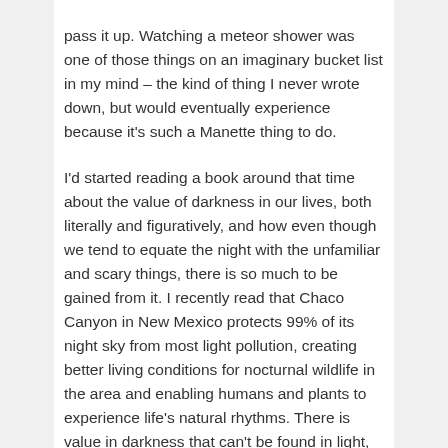pass it up. Watching a meteor shower was one of those things on an imaginary bucket list in my mind – the kind of thing I never wrote down, but would eventually experience because it's such a Manette thing to do.
I'd started reading a book around that time about the value of darkness in our lives, both literally and figuratively, and how even though we tend to equate the night with the unfamiliar and scary things, there is so much to be gained from it. I recently read that Chaco Canyon in New Mexico protects 99% of its night sky from most light pollution, creating better living conditions for nocturnal wildlife in the area and enabling humans and plants to experience life's natural rhythms. There is value in darkness that can't be found in light, and on the morning of Travis' birthday, standing b...